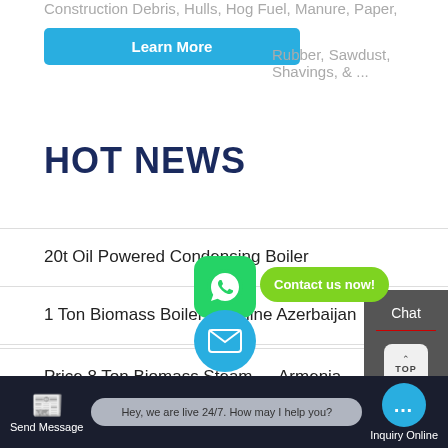Construction Debris, Hulls, Hog Fuel, Manure, Paper,
Rubber, Sawdust, Shavings, & ...
Learn More
HOT NEWS
20t Oil Powered Condensing Boiler
1 Ton Biomass Boiler Machine Azerbaijan
Cheap 4 Ton Gas Boiler Machine Russia
10t Boiler Low Price Industrial Belarus
Price 8 Ton Biomass Steam … Armenia
Boiler Plant 8 Ton Low P… rmenia
Chat
TOP
Email
[Figure (other): WhatsApp floating icon button]
Contact us now!
Send Message
Hey, we are live 24/7. How may I help you?
Inquiry Online